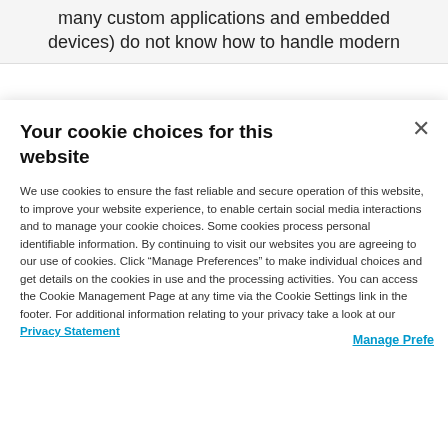many custom applications and embedded devices) do not know how to handle modern
Your cookie choices for this website
We use cookies to ensure the fast reliable and secure operation of this website, to improve your website experience, to enable certain social media interactions and to manage your cookie choices. Some cookies process personal identifiable information. By continuing to visit our websites you are agreeing to our use of cookies. Click “Manage Preferences” to make individual choices and get details on the cookies in use and the processing activities. You can access the Cookie Management Page at any time via the Cookie Settings link in the footer. For additional information relating to your privacy take a look at our Privacy Statement
Manage Prefe...